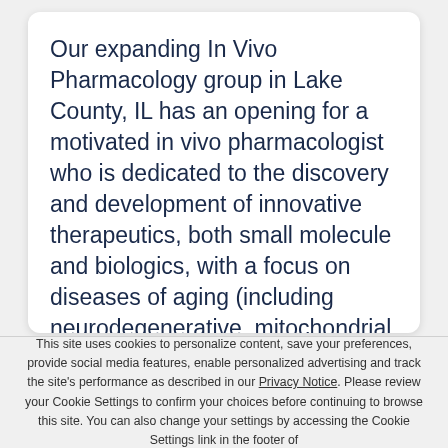Our expanding In Vivo Pharmacology group in Lake County, IL has an opening for a motivated in vivo pharmacologist who is dedicated to the discovery and development of innovative therapeutics, both small molecule and biologics, with a focus on diseases of aging (including neurodegenerative, mitochondrial, and fibrotic disorders). Primary responsibilities include independently executing, reporting, and troubleshooting in vivo pharmacology
This site uses cookies to personalize content, save your preferences, provide social media features, enable personalized advertising and track the site's performance as described in our Privacy Notice. Please review your Cookie Settings to confirm your choices before continuing to browse this site. You can also change your settings by accessing the Cookie Settings link in the footer of